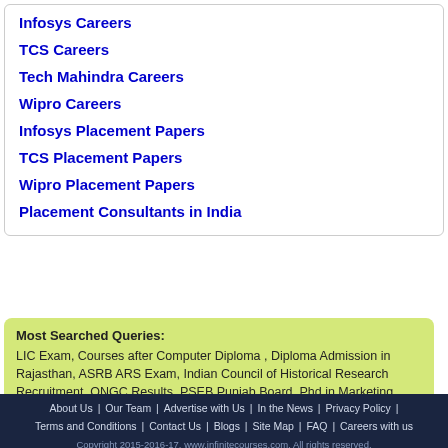Infosys Careers
TCS Careers
Tech Mahindra Careers
Wipro Careers
Infosys Placement Papers
TCS Placement Papers
Wipro Placement Papers
Placement Consultants in India
Most Searched Queries: LIC Exam, Courses after Computer Diploma , Diploma Admission in Rajasthan, ASRB ARS Exam, Indian Council of Historical Research Recruitment, ONGC Results, PSEB Punjab Board, Phd in Marketing, more..
About Us | Our Team | Advertise with Us | In the News | Privacy Policy | Terms and Conditions | Contact Us | Blogs | Site Map | FAQ | Careers with us
Copyright 2015-2016-17. www.infinitecourses.com. All rights reserved.